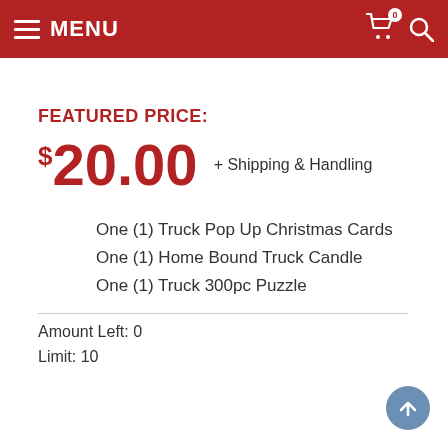MENU
FEATURED PRICE:
$20.00 + Shipping & Handling
One (1) Truck Pop Up Christmas Cards
One (1) Home Bound Truck Candle
One (1) Truck 300pc Puzzle
Amount Left: 0
Limit: 10